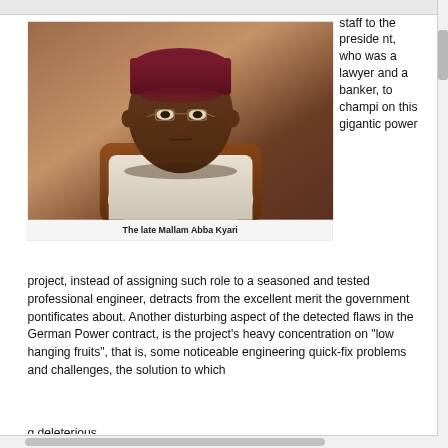[Figure (photo): Portrait photograph of the late Mallam Abba Kyari, an elderly African man wearing glasses and a dark maroon/burgundy traditional cap, dressed in white attire, seated at a desk with a brown leather chair and wooden background.]
The late Mallam Abba Kyari
staff to the president, who was a lawyer and a banker, to champion this gigantic power project, instead of assigning such role to a seasoned and tested professional engineer, detracts from the excellent merit the government pontificates about. Another disturbing aspect of the detected flaws in the German Power contract, is the project's heavy concentration on "low hanging fruits", that is, some noticeable engineering quick-fix problems and challenges, the solution to which
g deleterious